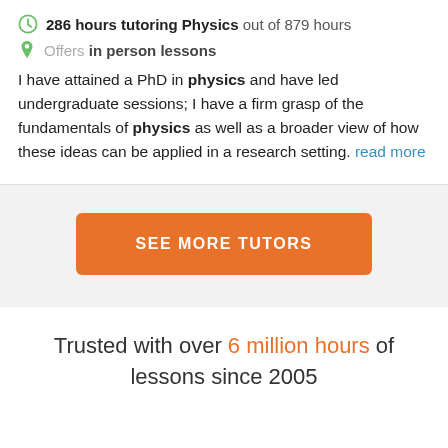286 hours tutoring Physics out of 879 hours
Offers in person lessons
I have attained a PhD in physics and have led undergraduate sessions; I have a firm grasp of the fundamentals of physics as well as a broader view of how these ideas can be applied in a research setting. read more
[Figure (other): Orange button labeled SEE MORE TUTORS on a gray background]
Trusted with over 6 million hours of lessons since 2005